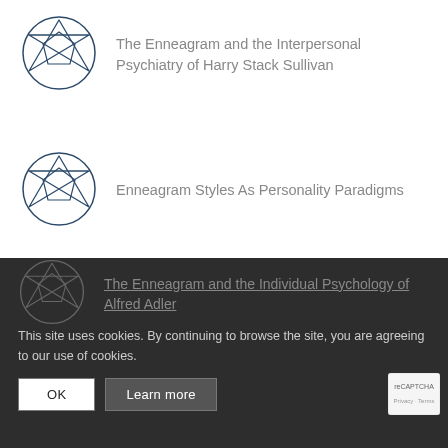The Enneagram and the Interpersonal Psychiatry of Harry Stack Sullivan
Enneagram Styles As Personality Paradigms
How We Stay Stuck in Our Styles: Schema Maintenance, Avoidance, and Compensation
The Enneagram and the Individual Psychology of Alfred Adler
This site uses cookies. By continuing to browse the site, you are agreeing to our use of cookies.